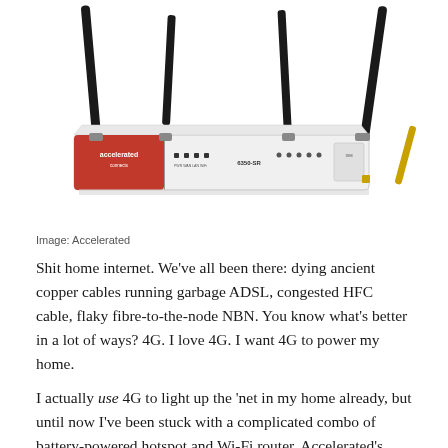[Figure (photo): Photo of an Accelerated 6350-SR router, a white rectangular box with a red branded panel on the left, several indicator lights, and four tall black antennas extending upward from the corners and sides.]
Image: Accelerated
Shit home internet. We’ve all been there: dying ancient copper cables running garbage ADSL, congested HFC cable, flaky fibre-to-the-node NBN. You know what’s better in a lot of ways? 4G. I love 4G. I want 4G to power my home.
I actually use 4G to light up the ‘net in my home already, but until now I’ve been stuck with a complicated combo of battery-powered hotspot and Wi-Fi router. Accelerated’s new 6350-SR router, though, is an all-in-one 4G and Wi-Fi